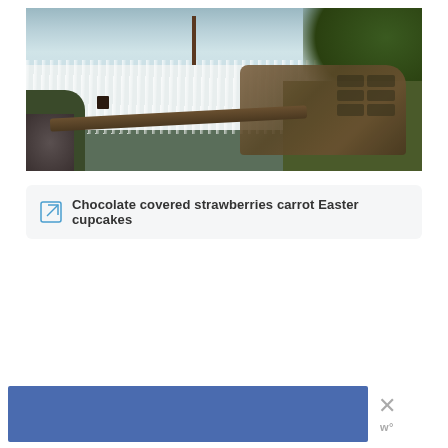[Figure (photo): Aerial/drone view of a person crossing a makeshift log bridge over a raging river, with a rusted wrecked vehicle (bus or train car) on the right bank, surrounded by vegetation and rocks.]
Chocolate covered strawberries carrot Easter cupcakes
[Figure (other): Advertisement banner: solid blue rectangle on the left, with an X close button and stylized 'w' logo on the right.]